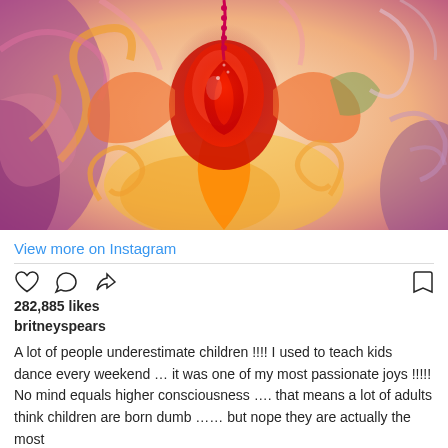[Figure (illustration): Colorful spiritual/psychedelic artwork featuring a red and orange phoenix or flame-like figure in the center, surrounded by swirling patterns in purple, pink, orange, yellow, and green tones. The image has an ethereal, flowing style with spiral motifs throughout.]
View more on Instagram
282,885 likes
britneyspears
A lot of people underestimate children !!!! I used to teach kids dance every weekend ... it was one of my most passionate joys !!!!! No mind equals higher consciousness .... that means a lot of adults think children are born dumb ...... but nope they are actually the most